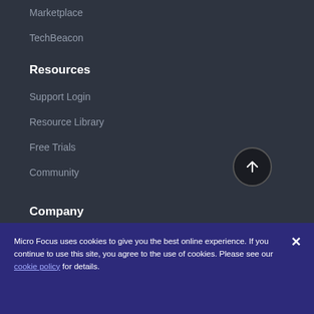Marketplace
TechBeacon
Resources
Support Login
Resource Library
Free Trials
Community
[Figure (other): Scroll-to-top circular button with upward arrow icon]
Company
About
Careers
Micro Focus uses cookies to give you the best online experience. If you continue to use this site, you agree to the use of cookies. Please see our cookie policy for details.